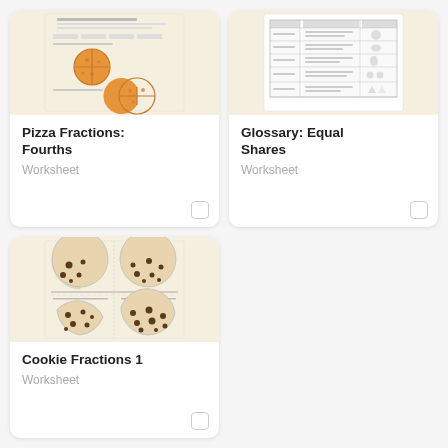[Figure (illustration): Pizza fractions worksheet thumbnail showing two pizza circles divided into fourths with orange coloring]
Pizza Fractions: Fourths
Worksheet
[Figure (illustration): Glossary Equal Shares worksheet thumbnail showing a table with fraction terms and definitions]
Glossary: Equal Shares
Worksheet
[Figure (illustration): Cookie Fractions 1 worksheet thumbnail showing four cookie circle images divided into halves with chocolate chip cookies]
Cookie Fractions 1
Worksheet